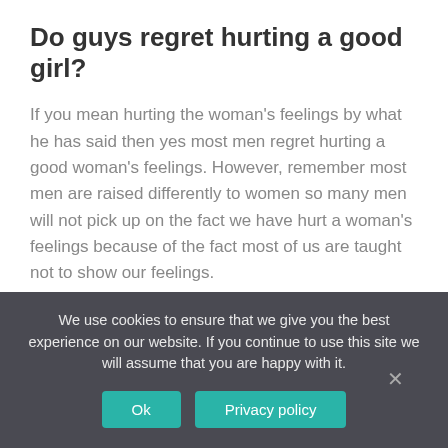Do guys regret hurting a good girl?
If you mean hurting the woman's feelings by what he has said then yes most men regret hurting a good woman's feelings. However, remember most men are raised differently to women so many men will not pick up on the fact we have hurt a woman's feelings because of the fact most of us are taught not to show our feelings.
What makes a man come back?
You must remember that wanting sex is one of the most
We use cookies to ensure that we give you the best experience on our website. If you continue to use this site we will assume that you are happy with it.